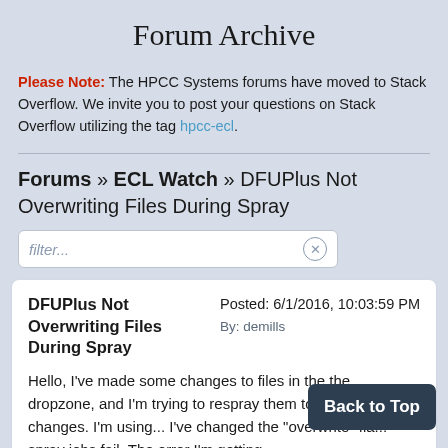Forum Archive
Please Note: The HPCC Systems forums have moved to Stack Overflow. We invite you to post your questions on Stack Overflow utilizing the tag hpcc-ecl.
Forums » ECL Watch » DFUPlus Not Overwriting Files During Spray
filter...
DFUPlus Not Overwriting Files During Spray
Posted: 6/1/2016, 10:03:59 PM
By: demills
Hello, I've made some changes to files in the the dropzone, and I'm trying to respray them to update the changes. I'm usi... I've changed the "overwrite" fla... spray jobs fail. The error I'm getting